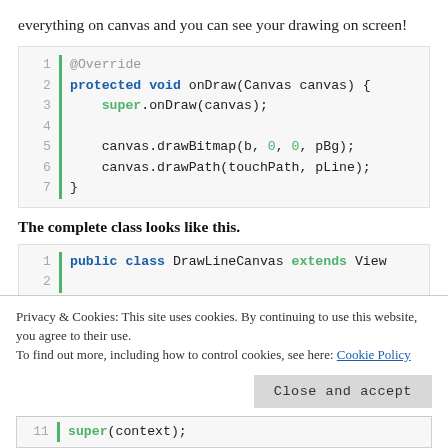everything on canvas and you can see your drawing on screen!
[Figure (screenshot): Code block showing onDraw method with 7 lines: @Override, protected void onDraw(Canvas canvas) {, super.onDraw(canvas);, blank line, canvas.drawBitmap(b, 0, 0, pBg);, canvas.drawPath(touchPath, pLine);, }]
The complete class looks like this.
[Figure (screenshot): Code block showing start of class: public class DrawLineCanvas extends View, line 2 empty]
Privacy & Cookies: This site uses cookies. By continuing to use this website, you agree to their use.
To find out more, including how to control cookies, see here: Cookie Policy
Close and accept
[Figure (screenshot): Code snippet showing line 11: super(context);]